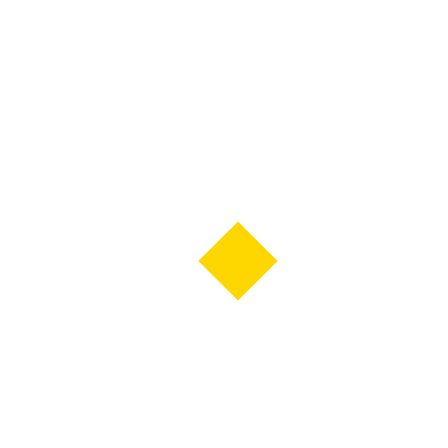[Figure (illustration): A small yellow diamond shape (rotated square) centered slightly left of center horizontally and slightly below center vertically on a white background.]